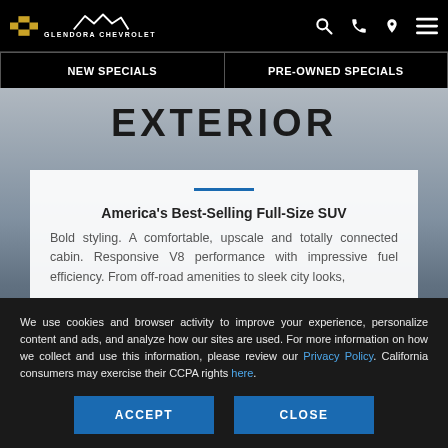Glendora Chevrolet
NEW SPECIALS | PRE-OWNED SPECIALS
EXTERIOR
America's Best-Selling Full-Size SUV
Bold styling. A comfortable, upscale and totally connected cabin. Responsive V8 performance with impressive fuel efficiency. From off-road amenities to sleek city looks,
We use cookies and browser activity to improve your experience, personalize content and ads, and analyze how our sites are used. For more information on how we collect and use this information, please review our Privacy Policy. California consumers may exercise their CCPA rights here.